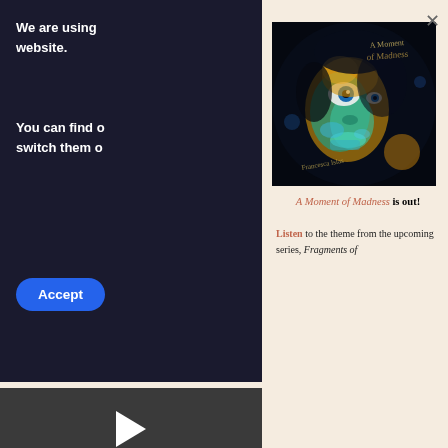We are using cookies on our website.
You can find out more about which cookies we are using or switch them off in settings.
Accept
[Figure (other): Video player with play button on dark background]
The Pas...
by Franc...
1.  The Pa...
Abo
[Figure (illustration): Album cover art for 'A Moment of Madness' showing a distorted surreal face with wild eyes on dark background with the title written in stylized script]
A Moment of Madness is out!
Listen to the theme from the upcoming series, Fragments of